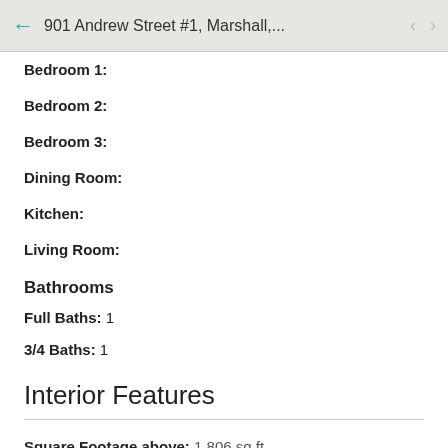901 Andrew Street #1, Marshall,...
Bedroom 1:
Bedroom 2:
Bedroom 3:
Dining Room:
Kitchen:
Living Room:
Bathrooms
Full Baths: 1
3/4 Baths: 1
Interior Features
Square Footage above: 1,806 sq ft
Basement: None
Accessibility: No Stairs Internal, Grab Bars In Bathroom,